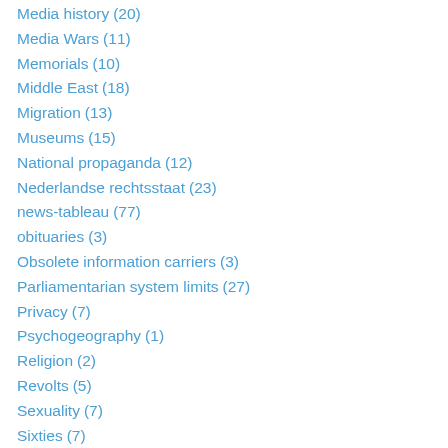Media history (20)
Media Wars (11)
Memorials (10)
Middle East (18)
Migration (13)
Museums (15)
National propaganda (12)
Nederlandse rechtsstaat (23)
news-tableau (77)
obituaries (3)
Obsolete information carriers (3)
Parliamentarian system limits (27)
Privacy (7)
Psychogeography (1)
Religion (2)
Revolts (5)
Sexuality (7)
Sixties (7)
Social protest (12)
Surveillance (7)